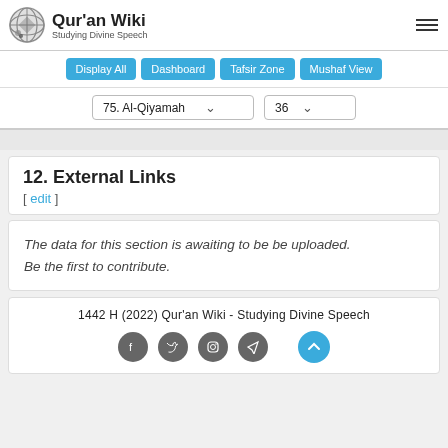Qur'an Wiki — Studying Divine Speech
Display All | Dashboard | Tafsir Zone | Mushaf View
75. Al-Qiyamah | 36
12. External Links [ edit ]
The data for this section is awaiting to be be uploaded. Be the first to contribute.
1442 H (2022) Qur'an Wiki - Studying Divine Speech